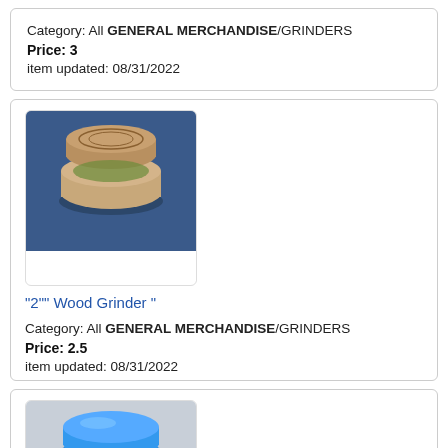Category: All GENERAL MERCHANDISE/GRINDERS
Price: 3
item updated: 08/31/2022
[Figure (photo): Photo of a wooden grinder with engraved pattern, lid open, on a blue background]
"2"" Wood Grinder "
Category: All GENERAL MERCHANDISE/GRINDERS
Price: 2.5
item updated: 08/31/2022
[Figure (photo): Photo of a blue plastic grinder on a light grey background]
Plastic Grinder